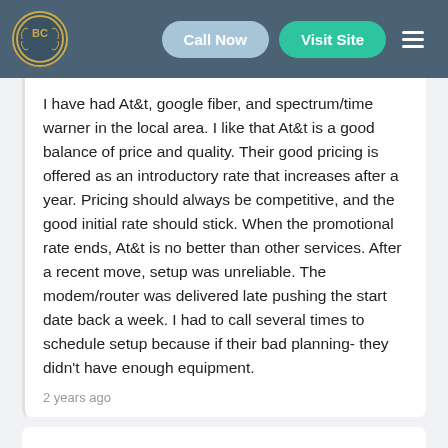BC | Call Now | Visit Site
I have had At&t, google fiber, and spectrum/time warner in the local area. I like that At&t is a good balance of price and quality. Their good pricing is offered as an introductory rate that increases after a year. Pricing should always be competitive, and the good initial rate should stick. When the promotional rate ends, At&t is no better than other services. After a recent move, setup was unreliable. The modem/router was delivered late pushing the start date back a week. I had to call several times to schedule setup because if their bad planning- they didn't have enough equipment.
2 years ago
[Figure (other): Star rating: 3 out of 5 stars (3 filled gold stars, 2 empty stars)]